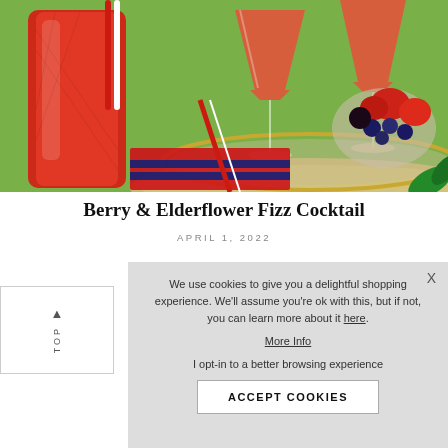[Figure (photo): Overhead/mid-angle photo of red berry cocktail drinks in crystal glasses and a pitcher on a mirrored tray with fresh strawberries and blueberries, red straws, and a Union Jack cloth, set outdoors on a green background]
Berry & Elderflower Fizz Cocktail
APRIL 1, 2022
We use cookies to give you a delightful shopping experience. We'll assume you're ok with this, but if not, you can learn more about it here. More Info I opt-in to a better browsing experience ACCEPT COOKIES